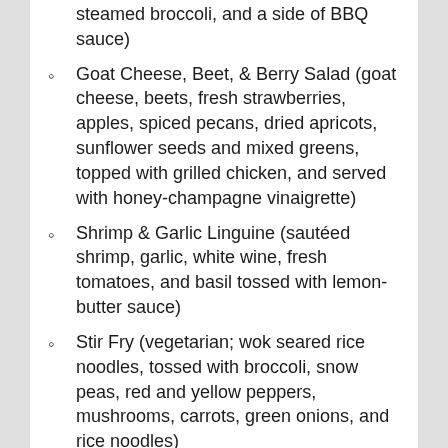steamed broccoli, and a side of BBQ sauce)
Goat Cheese, Beet, & Berry Salad (goat cheese, beets, fresh strawberries, apples, spiced pecans, dried apricots, sunflower seeds and mixed greens, topped with grilled chicken, and served with honey-champagne vinaigrette)
Shrimp & Garlic Linguine (sautéed shrimp, garlic, white wine, fresh tomatoes, and basil tossed with lemon-butter sauce)
Stir Fry (vegetarian; wok seared rice noodles, tossed with broccoli, snow peas, red and yellow peppers, mushrooms, carrots, green onions, and rice noodles)
(The restaurant reserves the right to make changes to the menu if needed)